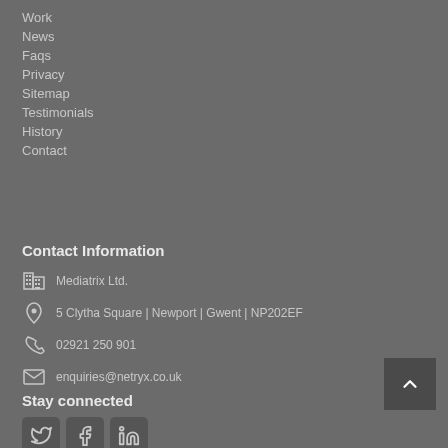Work
News
Faqs
Privacy
Sitemap
Testimonials
History
Contact
Contact Information
Mediatrix Ltd.
5 Clytha Square | Newport | Gwent | NP202EF
02921 250 901
enquiries@netryx.co.uk
Stay connected
[Figure (other): Social media icons: Twitter, Facebook, LinkedIn]